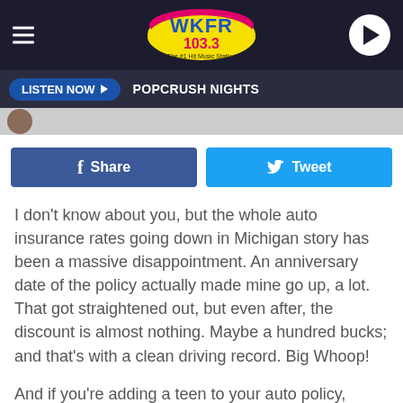[Figure (screenshot): WKFR 103.3 The #1 Hit Music Station radio station header logo on dark background with hamburger menu and play button]
LISTEN NOW ▶  POPCRUSH NIGHTS
[Figure (screenshot): Small circular avatar/profile image thumbnail]
[Figure (screenshot): Facebook Share button (blue) and Twitter Tweet button (light blue) side by side]
I don't know about you, but the whole auto insurance rates going down in Michigan story has been a massive disappointment. An anniversary date of the policy actually made mine go up, a lot. That got straightened out, but even after, the discount is almost nothing. Maybe a hundred bucks; and that's with a clean driving record. Big Whoop!
And if you're adding a teen to your auto policy, you're probably in a state of shock. But there are ways to lower that, almost (in some cases) triple digit, increase.